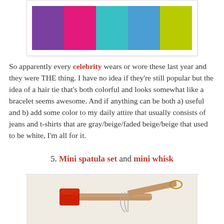[Figure (photo): Colorful hair ties/elastics in multiple colors including purple, hot pink, teal/cyan, blue, and yellow-green arranged in vertical strips]
So apparently every celebrity wears or wore these last year and they were THE thing. I have no idea if they're still popular but the idea of a hair tie that's both colorful and looks somewhat like a bracelet seems awesome. And if anything can be both a) useful and b) add some color to my daily attire that usually consists of jeans and t-shirts that are gray/beige/faded beige/beige that used to be white, I'm all for it.
5. Mini spatula set and mini whisk
[Figure (photo): Mini spatula with red silicone head and wooden handle, along with a mini whisk with wooden handle, on a light background]